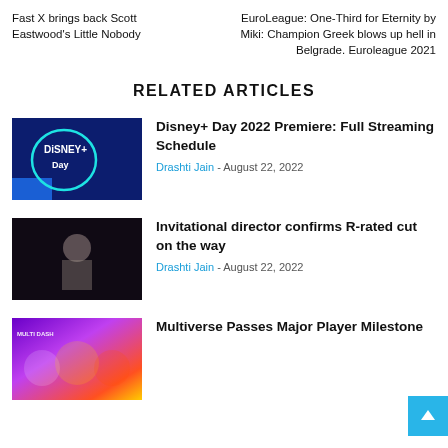Fast X brings back Scott Eastwood’s Little Nobody
EuroLeague: One-Third for Eternity by Miki: Champion Greek blows up hell in Belgrade. Euroleague 2021
RELATED ARTICLES
[Figure (photo): Disney+ Day logo on dark blue background with circular teal ring]
Disney+ Day 2022 Premiere: Full Streaming Schedule
Drashti Jain - August 22, 2022
[Figure (photo): Dark scene with a woman in a white dress]
Invitational director confirms R-rated cut on the way
Drashti Jain - August 22, 2022
[Figure (photo): Colorful animated multiverse movie promotional image]
Multiverse Passes Major Player Milestone